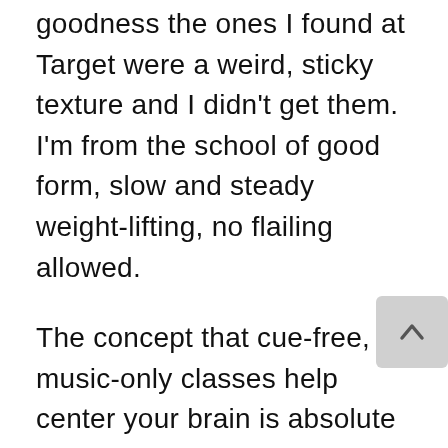goodness the ones I found at Target were a weird, sticky texture and I didn't get them. I'm from the school of good form, slow and steady weight-lifting, no flailing allowed.
The concept that cue-free, music-only classes help center your brain is absolute nonsense, while I'm in my living room twisting my neck around like the Exorcist trying to keep up with her. Is there a thrill in knowing you'll never quite catch up to TA, like restaurants whose waiters treat you badly and it's a